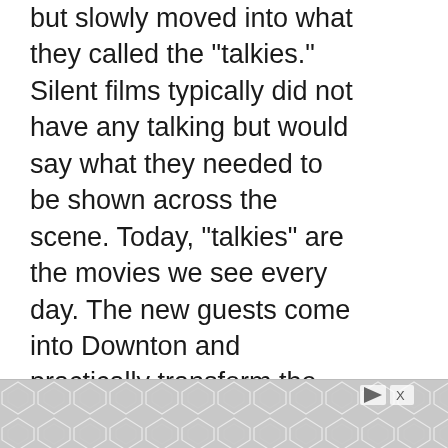but slowly moved into what they called the “talkies.” Silent films typically did not have any talking but would say what they needed to be shown across the scene. Today, “talkies” are the movies we see every day. The new guests come into Downton and practically transform the movie studio into a movie studio between the props and staff, and the actors.
[Figure (screenshot): UI floating action buttons: up-arrow button, vote count 27, heart button, green search/magnify button]
[Figure (other): Advertisement banner with geometric hexagonal grey pattern and play/close controls]